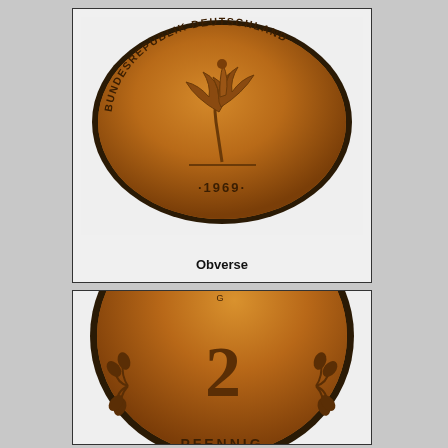[Figure (photo): Obverse side of a German 2 Pfennig coin from 1969, showing an oak sprig with the inscription BUNDESREPUBLIK DEUTSCHLAND and date 1969]
Obverse
[Figure (photo): Reverse side of a German 2 Pfennig coin showing the numeral 2 with wheat/laurel sprigs and partial text PFENNIG]